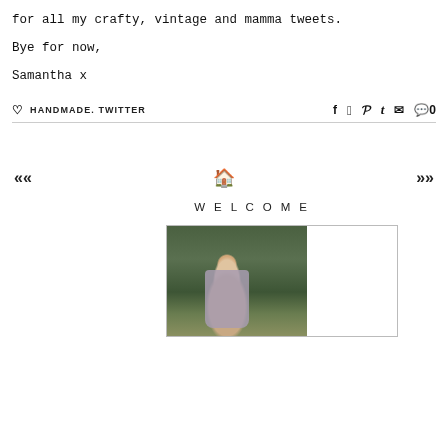for all my crafty, vintage and mamma tweets.
Bye for now,
Samantha x
♡ HANDMADE. TWITTER  f  𝘵  𝐩  t  ✉  💬 0
«   🏠   »
WELCOME
[Figure (photo): Woman in a mauve/lavender dress standing in a garden with green trees and bushes behind her, long auburn hair]